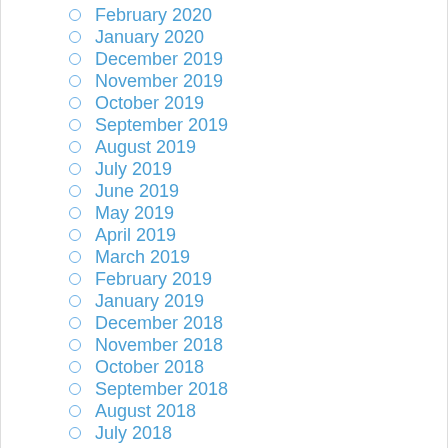February 2020
January 2020
December 2019
November 2019
October 2019
September 2019
August 2019
July 2019
June 2019
May 2019
April 2019
March 2019
February 2019
January 2019
December 2018
November 2018
October 2018
September 2018
August 2018
July 2018